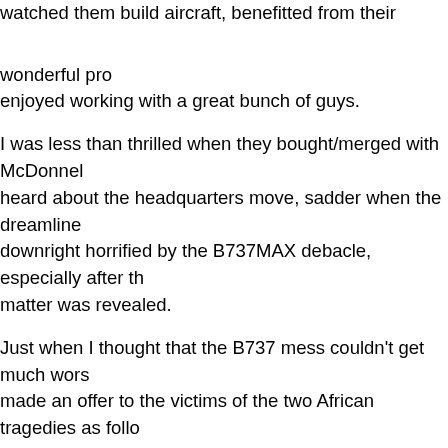watched them build aircraft, benefitted from their wonderful products, and enjoyed working with a great bunch of guys.
I was less than thrilled when they bought/merged with McDonnell, sadder when I heard about the headquarters move, sadder when the dreamliner issues arose, downright horrified by the B737MAX debacle, especially after the MCAS matter was revealed.
Just when I thought that the B737 mess couldn't get much worse, Boeing made an offer to the victims of the two African tragedies as follows per zerohedge: - $50 million to the victims and $50 million to the two governments for “community development and education”.
Folks, I’ve had shitty deals like that put to me. The $50 million to governments is an out bribe. It’s designed to make them shut up and also pressure the victims to accept the deal. Naturally, most, if not all, of the government share will be pocketed by the officials. Boeing must know that.
I now relegate Boeing to the list of sleaze merchants. They have adopted a completely cynical approach to aircraft production which is utterly dangerous to real aviation safety - something Boeing used to be famous for. N